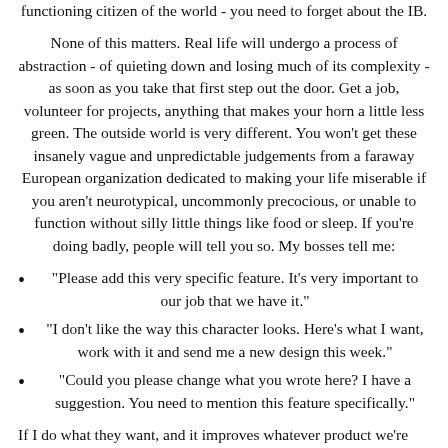functioning citizen of the world - you need to forget about the IB.
None of this matters. Real life will undergo a process of abstraction - of quieting down and losing much of its complexity - as soon as you take that first step out the door. Get a job, volunteer for projects, anything that makes your horn a little less green. The outside world is very different. You won't get these insanely vague and unpredictable judgements from a faraway European organization dedicated to making your life miserable if you aren't neurotypical, uncommonly precocious, or unable to function without silly little things like food or sleep. If you're doing badly, people will tell you so. My bosses tell me:
"Please add this very specific feature. It's very important to our job that we have it."
"I don't like the way this character looks. Here's what I want, work with it and send me a new design this week."
"Could you please change what you wrote here? I have a suggestion. You need to mention this feature specifically."
If I do what they want, and it improves whatever product we're